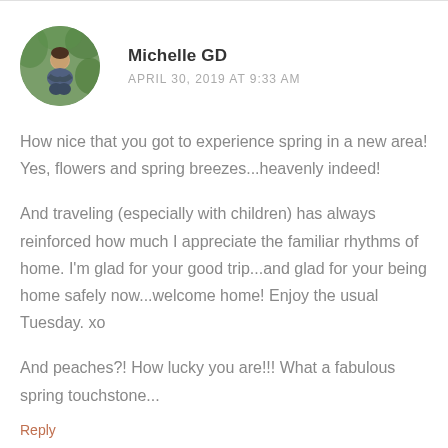[Figure (photo): Circular avatar photo of a person (Michelle GD) sitting outdoors with green foliage background]
Michelle GD
APRIL 30, 2019 AT 9:33 AM
How nice that you got to experience spring in a new area! Yes, flowers and spring breezes...heavenly indeed!
And traveling (especially with children) has always reinforced how much I appreciate the familiar rhythms of home. I'm glad for your good trip...and glad for your being home safely now...welcome home! Enjoy the usual Tuesday. xo
And peaches?! How lucky you are!!! What a fabulous spring touchstone...
Reply